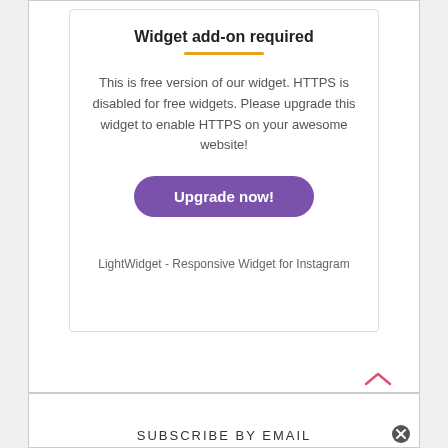Widget add-on required
This is free version of our widget. HTTPS is disabled for free widgets. Please upgrade this widget to enable HTTPS on your awesome website!
Upgrade now!
LightWidget - Responsive Widget for Instagram
SUBSCRIBE BY EMAIL